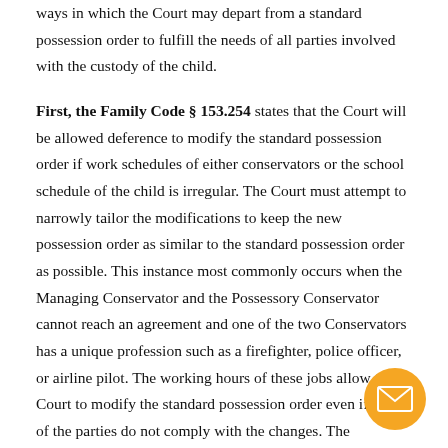ways in which the Court may depart from a standard possession order to fulfill the needs of all parties involved with the custody of the child.
First, the Family Code § 153.254 states that the Court will be allowed deference to modify the standard possession order if work schedules of either conservators or the school schedule of the child is irregular. The Court must attempt to narrowly tailor the modifications to keep the new possession order as similar to the standard possession order as possible. This instance most commonly occurs when the Managing Conservator and the Possessory Conservator cannot reach an agreement and one of the two Conservators has a unique profession such as a firefighter, police officer, or airline pilot. The working hours of these jobs allow the Court to modify the standard possession order even if both of the parties do not comply with the changes. The modifications must be made only if it is in the